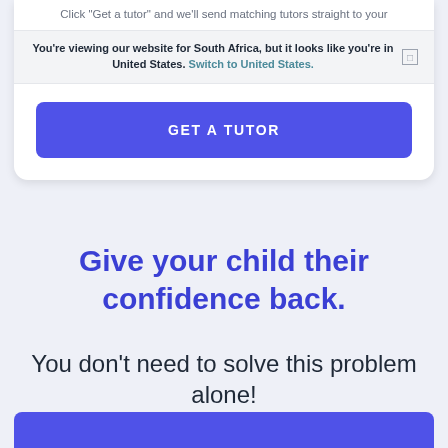Click "Get a tutor" and we'll send matching tutors straight to your
You're viewing our website for South Africa, but it looks like you're in United States. Switch to United States.
GET A TUTOR
Give your child their confidence back.
You don't need to solve this problem alone!